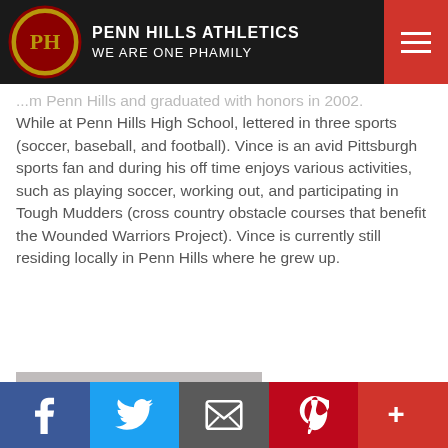PENN HILLS ATHLETICS WE ARE ONE PHAMILY
...from Penn Hills and graduated with honors in 2002. While at Penn Hills High School, lettered in three sports (soccer, baseball, and football). Vince is an avid Pittsburgh sports fan and during his off time enjoys various activities, such as playing soccer, working out, and participating in Tough Mudders (cross country obstacle courses that benefit the Wounded Warriors Project). Vince is currently still residing locally in Penn Hills where he grew up.
[Figure (photo): Headshot photo of a young woman with short dark hair and glasses, wearing a light gray top, smiling at the camera against a gray background.]
Social share bar: Facebook, Twitter, Email, Pinterest, More